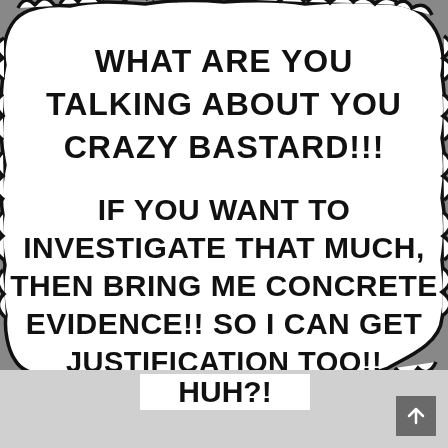[Figure (illustration): Manga/comic style speech bubble with jagged cloud-like edges containing bold black uppercase text on white background]
WHAT ARE YOU TALKING ABOUT YOU CRAZY BASTARD!!! IF YOU WANT TO INVESTIGATE THAT MUCH, THEN BRING ME CONCRETE EVIDENCE!! SO I CAN GET JUSTIFICATION TOO!! HUH?!